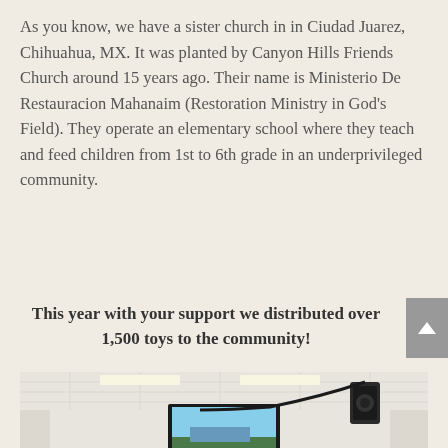As you know, we have a sister church in in Ciudad Juarez, Chihuahua, MX. It was planted by Canyon Hills Friends Church around 15 years ago. Their name is Ministerio De Restauracion Mahanaim (Restoration Ministry in God's Field). They operate an elementary school where they teach and feed children from 1st to 6th grade in an underprivileged community.
This year with your support we distributed over 1,500 toys to the community!
[Figure (photo): Interior photo of a room with drop ceiling and fluorescent lights. A flat-screen TV/monitor is mounted on a white wall showing a landscape image. A black speaker is mounted near the upper right. Cables run along the ceiling.]